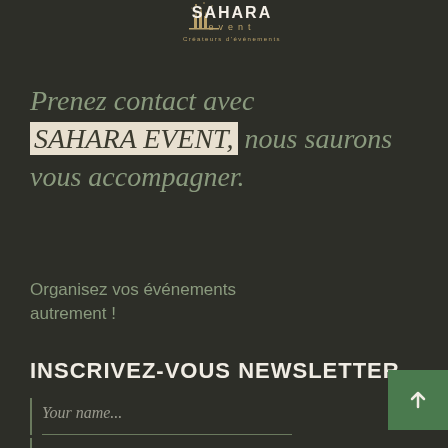[Figure (logo): Sahara Event logo with text 'SAHARA event Créateurs d'événements']
Prenez contact avec SAHARA EVENT, nous saurons vous accompagner.
Organisez vos événements autrement !
INSCRIVEZ-VOUS NEWSLETTER
Your name...